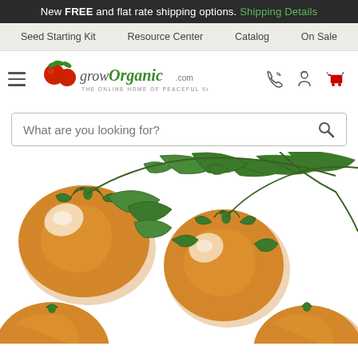New FREE and flat rate shipping options. Shipping Details
Seed Starting Kit | Resource Center | Catalog | On Sale
[Figure (logo): growOrganic.com logo with tomatoes and leaves illustration, tagline: THE ONLINE HOME OF PEACEFUL VALLEY]
[Figure (illustration): Illustration of large golden/orange tomatoes on the vine with green leaves]
What are you looking for?